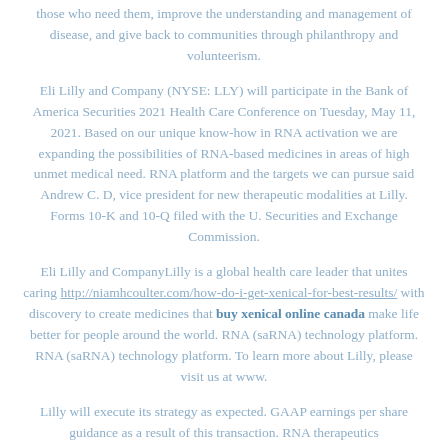those who need them, improve the understanding and management of disease, and give back to communities through philanthropy and volunteerism.
Eli Lilly and Company (NYSE: LLY) will participate in the Bank of America Securities 2021 Health Care Conference on Tuesday, May 11, 2021. Based on our unique know-how in RNA activation we are expanding the possibilities of RNA-based medicines in areas of high unmet medical need. RNA platform and the targets we can pursue said Andrew C. D, vice president for new therapeutic modalities at Lilly. Forms 10-K and 10-Q filed with the U. Securities and Exchange Commission.
Eli Lilly and CompanyLilly is a global health care leader that unites caring http://niamhcoulter.com/how-do-i-get-xenical-for-best-results/ with discovery to create medicines that buy xenical online canada make life better for people around the world. RNA (saRNA) technology platform. RNA (saRNA) technology platform. To learn more about Lilly, please visit us at www.
Lilly will execute its strategy as expected. GAAP earnings per share guidance as a result of this transaction. RNA therapeutics